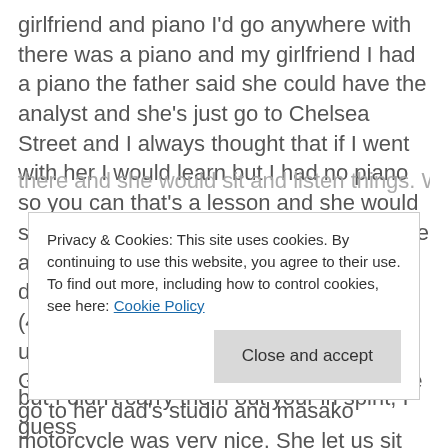girlfriend and piano I'd go anywhere with there was a piano and my girlfriend I had a piano the father said she could have the analyst and she's just go to Chelsea Street and I always thought that if I went with her I would learn but I had no piano so you can that's a lesson and she would sit and play the piano and I would sit there and listen, but my other girlfriend took dancing lessons (4766.600s) Tackle that was G took them up at these where people catch this Goods to their and the officer still then we go to her dad's studio and masako motorcycle was very nice. She let us sit
Privacy & Cookies: This site uses cookies. By continuing to use this website, you agree to their use.
To find out more, including how to control cookies, see here: Cookie Policy
but I didn't carry them out your in spirit, I guess